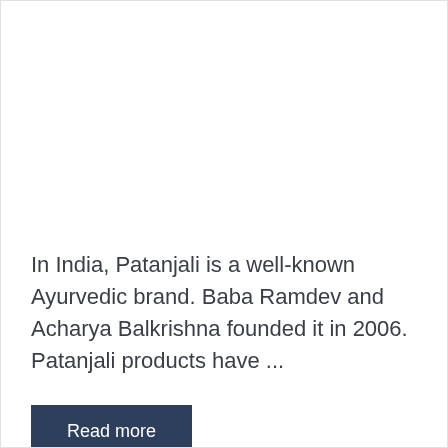In India, Patanjali is a well-known Ayurvedic brand. Baba Ramdev and Acharya Balkrishna founded it in 2006. Patanjali products have ...
Read more